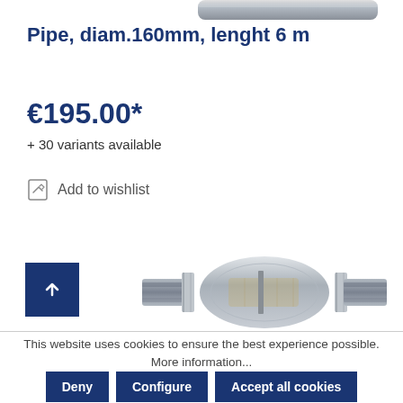[Figure (photo): Partial view of a silver/grey pipe at the top of the page]
Pipe, diam.160mm, lenght 6 m
€195.00*
+ 30 variants available
Add to wishlist
[Figure (photo): Silver metallic catalytic converter / pipe fitting component with flanges on both sides]
This website uses cookies to ensure the best experience possible. More information...
Deny | Configure | Accept all cookies